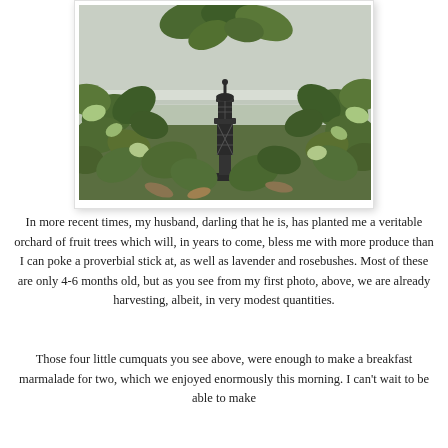[Figure (photo): A small dark metal lighthouse or lantern figurine surrounded by ivy leaves against a light-colored wall or surface.]
In more recent times, my husband, darling that he is, has planted me a veritable orchard of fruit trees which will, in years to come, bless me with more produce than I can poke a proverbial stick at, as well as lavender and rosebushes. Most of these are only 4-6 months old, but as you see from my first photo, above, we are already harvesting, albeit, in very modest quantities.
Those four little cumquats you see above, were enough to make a breakfast marmalade for two, which we enjoyed enormously this morning. I can't wait to be able to make